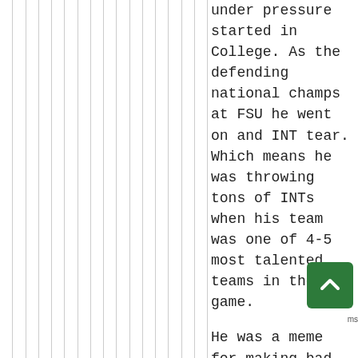under pressure started in College. As the defending national champs at FSU he went on and INT tear. Which means he was throwing tons of INTs when his team was one of 4-5 most talented teams in the game.

He was a meme for making bad choices under pressure for the wild no hit fumble he gave to Oregon in the Rose Bowl